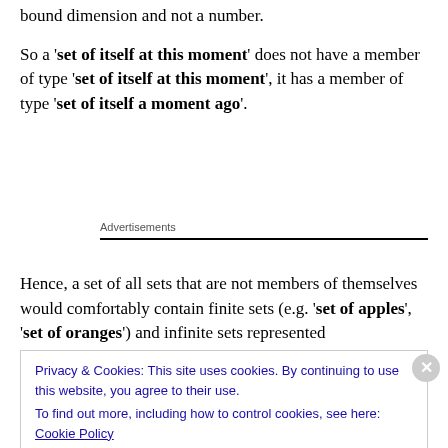bound dimension and not a number.
So a 'set of itself at this moment' does not have a member of type 'set of itself at this moment', it has a member of type 'set of itself a moment ago'.
Advertisements
Hence, a set of all sets that are not members of themselves would comfortably contain finite sets (e.g. 'set of apples', 'set of oranges') and infinite sets represented
Privacy & Cookies: This site uses cookies. By continuing to use this website, you agree to their use.
To find out more, including how to control cookies, see here: Cookie Policy